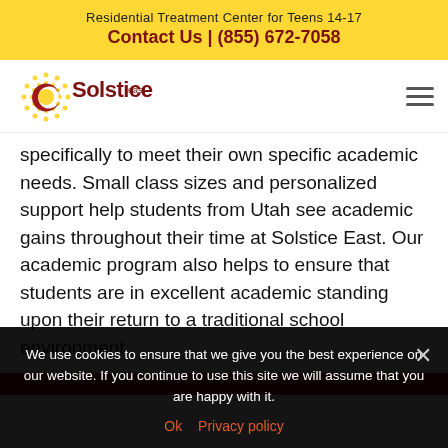Residential Treatment Center for Teens 14-17
Contact Us | (855) 672-7058
[Figure (logo): Solstice East logo with sun graphic and crescent moon shape, dark red wordmark]
specifically to meet their own specific academic needs. Small class sizes and personalized support help students from Utah see academic gains throughout their time at Solstice East. Our academic program also helps to ensure that students are in excellent academic standing upon their return to a traditional school environment.
We use cookies to ensure that we give you the best experience on our website. If you continue to use this site we will assume that you are happy with it.
Ok   Privacy policy